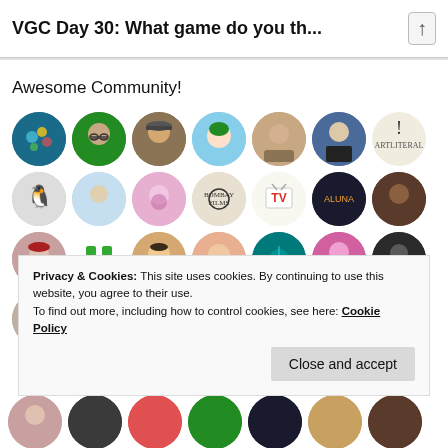VGC Day 30: What game do you th...
Awesome Community!
[Figure (photo): Grid of circular community member avatars/profile pictures arranged in 5 rows of 8 circles each, showing various people, logos, and illustrations]
Privacy & Cookies: This site uses cookies. By continuing to use this website, you agree to their use.
To find out more, including how to control cookies, see here: Cookie Policy
Close and accept